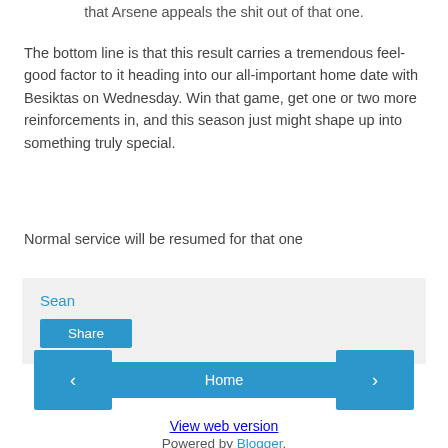that Arsene appeals the shit out of that one.
The bottom line is that this result carries a tremendous feel-good factor to it heading into our all-important home date with Besiktas on Wednesday. Win that game, get one or two more reinforcements in, and this season just might shape up into something truly special.
Normal service will be resumed for that one
Sean
Share
‹
Home
›
View web version
Powered by Blogger.